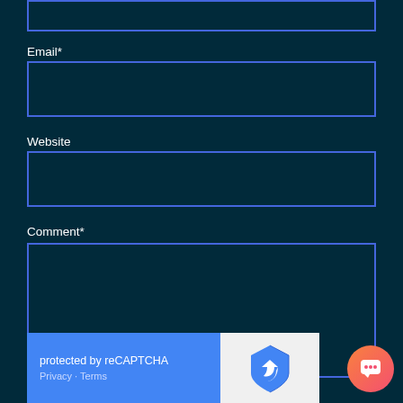[Figure (screenshot): Partially visible text input field at the top of the page (cropped)]
Email*
[Figure (screenshot): Email input field box with blue border]
Website
[Figure (screenshot): Website input field box with blue border]
Comment*
[Figure (screenshot): Comment textarea with blue border]
[Figure (screenshot): reCAPTCHA widget with blue background showing 'protected by reCAPTCHA' text, Privacy and Terms links, and the reCAPTCHA logo]
[Figure (other): Orange/pink gradient chat bubble icon in bottom right corner]